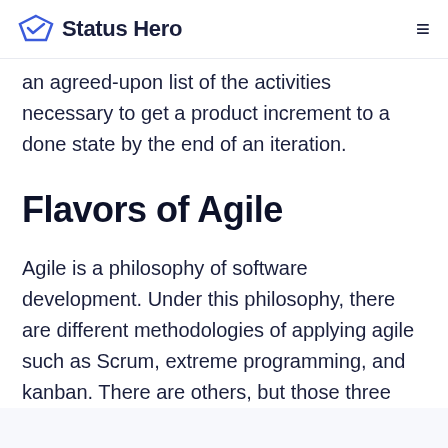Status Hero
an agreed-upon list of the activities necessary to get a product increment to a done state by the end of an iteration.
Flavors of Agile
Agile is a philosophy of software development. Under this philosophy, there are different methodologies of applying agile such as Scrum, extreme programming, and kanban. There are others, but those three